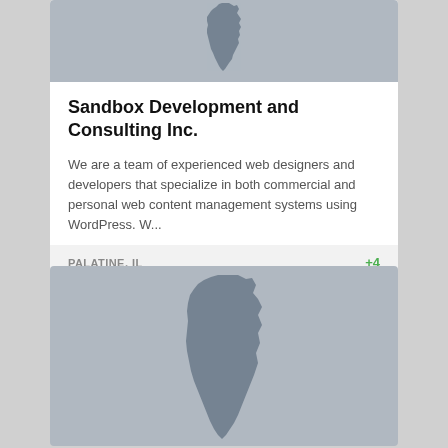[Figure (map): Illinois state map placeholder image, small, gray background]
Sandbox Development and Consulting Inc.
We are a team of experienced web designers and developers that specialize in both commercial and personal web content management systems using WordPress. W...
PALATINE, IL
+4
[Figure (map): Illinois state map placeholder image, large, gray background]